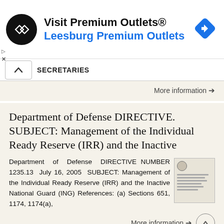[Figure (other): Advertisement banner for Visit Premium Outlets / Leesburg Premium Outlets with logo and navigation icon]
SECRETARIES
More information →
Department of Defense DIRECTIVE. SUBJECT: Management of the Individual Ready Reserve (IRR) and the Inactive
Department of Defense DIRECTIVE NUMBER 1235.13 July 16, 2005 SUBJECT: Management of the Individual Ready Reserve (IRR) and the Inactive National Guard (ING) References: (a) Sections 651, 1174, 1174(a),
More information →